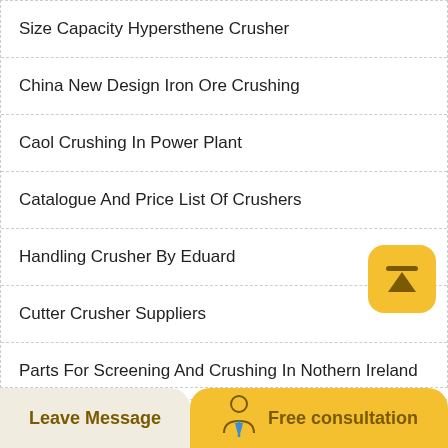Size Capacity Hypersthene Crusher
China New Design Iron Ore Crushing
Caol Crushing In Power Plant
Catalogue And Price List Of Crushers
Handling Crusher By Eduard
Cutter Crusher Suppliers
Parts For Screening And Crushing In Nothern Ireland
Quarry Crushing Contract Ghana